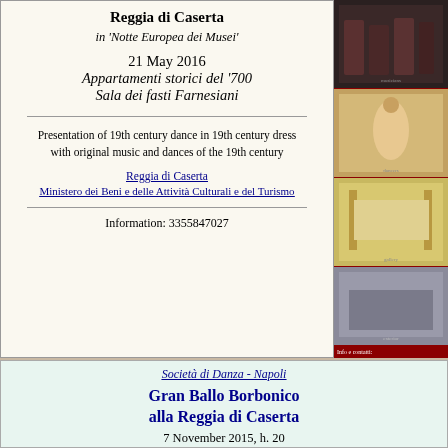Reggia di Caserta
in 'Notte Europea dei Musei'
21 May 2016
Appartamenti storici del '700
Sala dei fasti Farnesiani
Presentation of 19th century dance in 19th century dress with original music and dances of the 19th century
Reggia di Caserta
Ministero dei Beni e delle Attività Culturali e del Turismo
Information: 3355847027
[Figure (photo): Four photos of Reggia di Caserta showing dancers, ballroom, gallery and exterior]
Società di Danza - Napoli
Gran Ballo Borbonico alla Reggia di Caserta
7 November 2015, h. 20
Reggia di Caserta